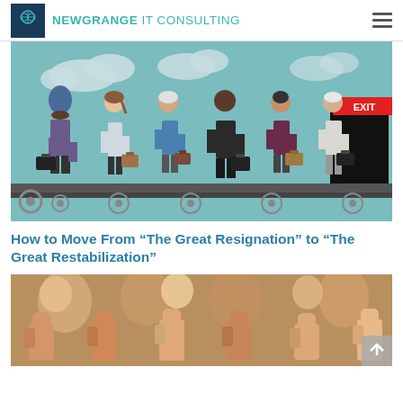NEWGRANGE IT CONSULTING
[Figure (illustration): Cartoon illustration of six diverse business professionals standing in a queue on a conveyor belt, each carrying a briefcase, walking toward an EXIT door (black door with red EXIT sign) against a teal background with clouds.]
How to Move From “The Great Resignation” to “The Great Restabilization”
[Figure (photo): Photo showing multiple people giving thumbs up gestures, smiling, close-up of hands and faces.]